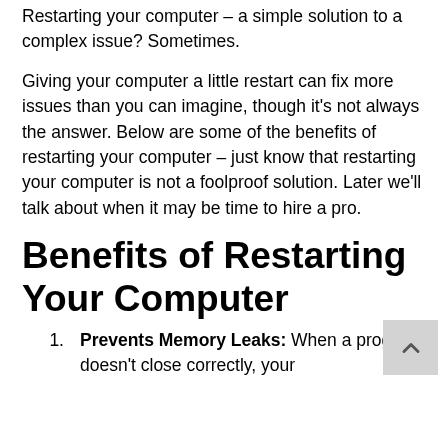Restarting your computer – a simple solution to a complex issue? Sometimes.
Giving your computer a little restart can fix more issues than you can imagine, though it's not always the answer. Below are some of the benefits of restarting your computer – just know that restarting your computer is not a foolproof solution. Later we'll talk about when it may be time to hire a pro.
Benefits of Restarting Your Computer
Prevents Memory Leaks: When a program doesn't close correctly, your